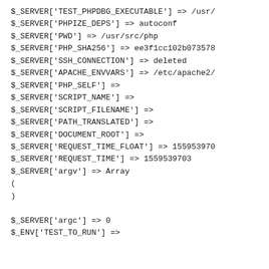$_SERVER['TEST_PHPDBG_EXECUTABLE'] => /usr/
$_SERVER['PHPIZE_DEPS'] => autoconf
$_SERVER['PWD'] => /usr/src/php
$_SERVER['PHP_SHA256'] => ee3f1cc102b073578
$_SERVER['SSH_CONNECTION'] => deleted
$_SERVER['APACHE_ENVVARS'] => /etc/apache2/
$_SERVER['PHP_SELF'] =>
$_SERVER['SCRIPT_NAME'] =>
$_SERVER['SCRIPT_FILENAME'] =>
$_SERVER['PATH_TRANSLATED'] =>
$_SERVER['DOCUMENT_ROOT'] =>
$_SERVER['REQUEST_TIME_FLOAT'] => 155953970
$_SERVER['REQUEST_TIME'] => 1559539703
$_SERVER['argv'] => Array
(
)

$_SERVER['argc'] => 0
$_ENV['TEST_TO_RUN'] =>